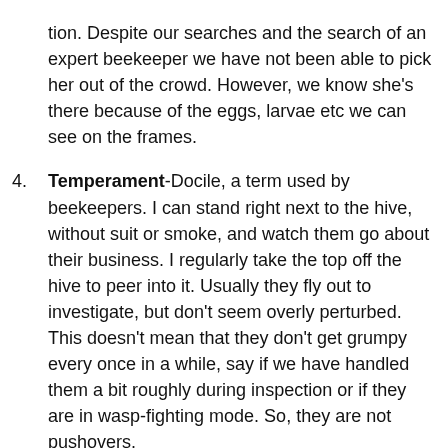(continuation) beekeeper we have not been able to pick her out of the crowd.  However, we know she's there because of the eggs, larvae etc we can see on the frames.
4. Temperament-Docile, a term used by beekeepers.  I can stand right next to the hive, without suit or smoke, and watch them go about their business.  I regularly take the top off the hive to peer into it.  Usually they fly out to investigate, but don't seem overly perturbed.  This doesn't mean that they don't get grumpy every once in a while, say if we have handled them a bit roughly during inspection or if they are in wasp-fighting mode.  So, they are not pushovers.
5. Under Attack-And, they have sustained their share of attacks, from wasps and from woodpeckers, as we discovered after coming home from holiday in December.  Luckily, something must have startled the